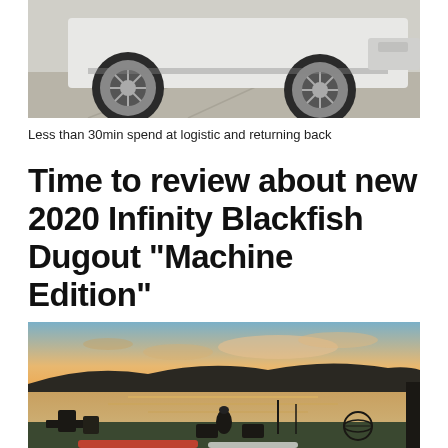[Figure (photo): Close-up photo of the front/wheel area of a white pickup truck or SUV parked on a gravel/dirt surface]
Less than 30min spend at logistic and returning back
Time to review about new 2020 Infinity Blackfish Dugout “Machine Edition”
[Figure (photo): Sunset landscape photo showing a calm lake with silhouetted hills in the background, orange and golden sky, and outdoor furniture including Adirondack chairs, a chiminea, and a decorative sphere on a grassy waterfront lawn with kayak boards visible at the bottom]